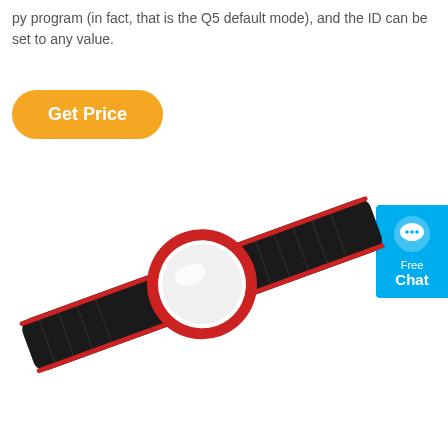py program (in fact, that is the Q5 default mode), and the ID can be set to any value.
[Figure (other): Orange rounded rectangle button labeled 'Get Price']
[Figure (other): Blue chat widget on right edge with speech bubble icon, text 'Free Chat']
[Figure (photo): Product photo of a red and black wristband/tracker device with a circular white face, attached to a black nylon strap with velcro closure, shown on white background]